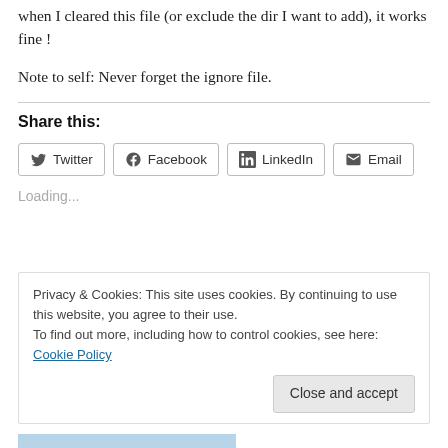when I cleared this file (or exclude the dir I want to add), it works fine !
Note to self: Never forget the ignore file.
Share this:
[Figure (other): Social share buttons: Twitter, Facebook, LinkedIn, Email]
Loading...
Privacy & Cookies: This site uses cookies. By continuing to use this website, you agree to their use.
To find out more, including how to control cookies, see here: Cookie Policy